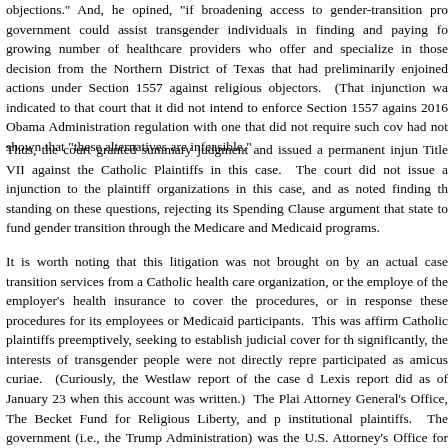objections." And, he opined, "if broadening access to gender-transition pro government could assist transgender individuals in finding and paying fo growing number of healthcare providers who offer and specialize in those decision from the Northern District of Texas that had preliminarily enjoined actions under Section 1557 against religious objectors.  (That injunction wa indicated to that court that it did not intend to enforce Section 1557 agains 2016 Obama Administration regulation with one that did not require such cov had not shown that "these alternatives are infeasible."
Thus, the court granted summary judgment and issued a permanent injun Title VII against the Catholic Plaintiffs in this case.  The court did not issue a injunction to the plaintiff organizations in this case, and as noted finding th standing on these questions, rejecting its Spending Clause argument that state to fund gender transition through the Medicare and Medicaid programs.
It is worth noting that this litigation was not brought on by an actual case transition services from a Catholic health care organization, or the employe of the employer's health insurance to cover the procedures, or in response these procedures for its employees or Medicaid participants.  This was affirm Catholic plaintiffs preemptively, seeking to establish judicial cover for th significantly, the interests of transgender people were not directly repre participated as amicus curiae.  (Curiously, the Westlaw report of the case d Lexis report did as of January 23 when this account was written.)  The Plai Attorney General's Office, The Becket Fund for Religious Liberty, and p institutional plaintiffs.  The government (i.e., the Trump Administration) was the U.S. Attorney's Office for North Dakota, which of course was happ Administration's position opposing the Bostock ruling and their issuance of